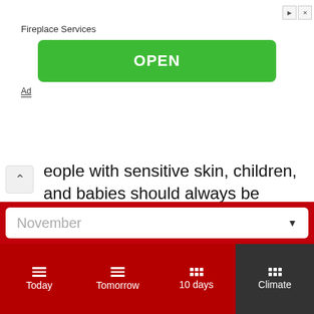[Figure (screenshot): Advertisement banner showing 'Fireplace Services' with a green OPEN button and an 'Ad' label below]
eople with sensitive skin, children, and babies should always be protected from prolonged sun exposure. The Sun's most intense and consequently most harmful UV radiation during midday hours should be decreased by minimizing exposure and seeking shade. Sun-protective clothing, a long-sleeved shirt and pants, a wide-brimmed hat, and UVA and UVB-blocking sunglasses are particularly helpful in blocking UV radiation by way of effort
November
Today  Tomorrow  10 days  Climate